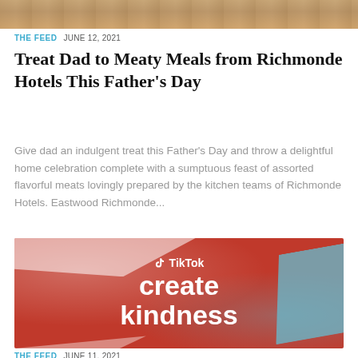[Figure (photo): Top portion of a food photo showing meaty dishes, partially cropped at top of page]
THE FEED  JUNE 12, 2021
Treat Dad to Meaty Meals from Richmonde Hotels This Father's Day
Give dad an indulgent treat this Father's Day and throw a delightful home celebration complete with a sumptuous feast of assorted flavorful meats lovingly prepared by the kitchen teams of Richmonde Hotels. Eastwood Richmonde...
[Figure (photo): TikTok 'create kindness' promotional banner with red background, white paint splash effect, blue accent, TikTok logo and text 'create kindness']
THE FEED  JUNE 11, 2021